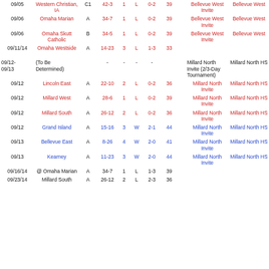| Date | Opponent | H/A/N | Score | Sets | W/L | Record | Pts | Tournament | Site |
| --- | --- | --- | --- | --- | --- | --- | --- | --- | --- |
| 09/05 | Western Christian, IA | C1 | 42-3 | 1 | L | 0-2 | 39 | Bellevue West Invite | Bellevue West |
| 09/06 | Omaha Marian | A | 34-7 | 1 | L | 0-2 | 39 | Bellevue West Invite | Bellevue West |
| 09/06 | Omaha Skutt Catholic | B | 34-5 | 1 | L | 0-2 | 39 | Bellevue West Invite | Bellevue West |
| 09/11/14 | Omaha Westside | A | 14-23 | 3 | L | 1-3 | 33 |  |  |
| 09/12-09/13 | (To Be Determined) |  | - | - | - | - |  | Millard North Invite (2/3-Day Tournament) | Millard North HS |
| 09/12 | Lincoln East | A | 22-10 | 2 | L | 0-2 | 36 | Millard North Invite | Millard North HS |
| 09/12 | Millard West | A | 28-6 | 1 | L | 0-2 | 39 | Millard North Invite | Millard North HS |
| 09/12 | Millard South | A | 26-12 | 2 | L | 0-2 | 36 | Millard North Invite | Millard North HS |
| 09/12 | Grand Island | A | 15-16 | 3 | W | 2-1 | 44 | Millard North Invite | Millard North HS |
| 09/13 | Bellevue East | A | 8-26 | 4 | W | 2-0 | 41 | Millard North Invite | Millard North HS |
| 09/13 | Kearney | A | 11-23 | 3 | W | 2-0 | 44 | Millard North Invite | Millard North HS |
| 09/16/14 | @ Omaha Marian | A | 34-7 | 1 | L | 1-3 | 39 |  |  |
| 09/23/14 | Millard South | A | 26-12 | 2 | L | 2-3 | 36 |  |  |